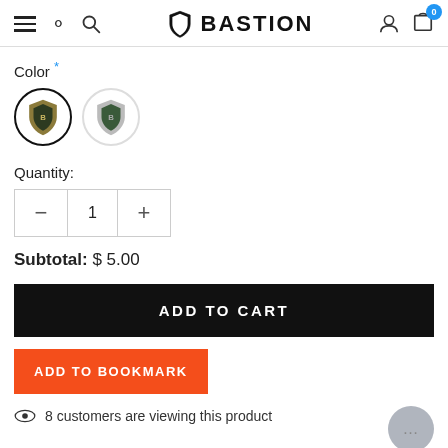BASTION
Color *
[Figure (illustration): Two circular color swatches with shield/logo icons inside. First swatch has dark border (selected), second has light border (unselected).]
Quantity:
Subtotal: $ 5.00
ADD TO CART
ADD TO BOOKMARK
8 customers are viewing this product